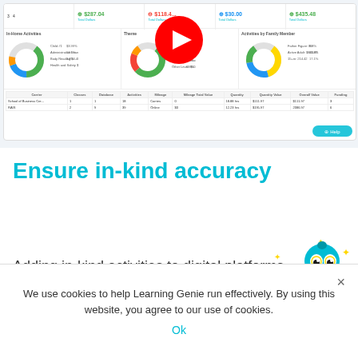[Figure (screenshot): Dashboard screenshot showing stats, donut charts for in-kind activities and family members, and a data table. A YouTube play button overlay is centered on the image.]
Ensure in-kind accuracy
Adding in-kind activities to digital platforms to be a very simple and straightforward process that can be completed through its apps a...
We use cookies to help Learning Genie run effectively. By using this website, you agree to our use of cookies.
Ok